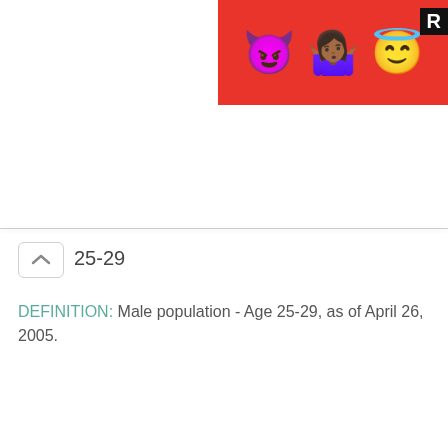[Figure (illustration): Advertisement banner with emoji characters (devil, woman shrugging, angel emoji) on a red polka-dot background with a dark R badge on the right edge.]
25-29
DEFINITION: Male population - Age 25-29, as of April 26, 2005.